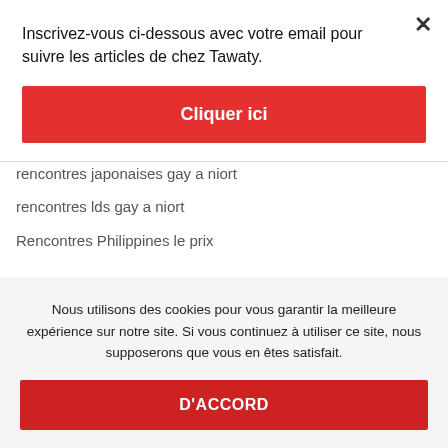Inscrivez-vous ci-dessous avec votre email pour suivre les articles de chez Tawaty.
Cliquer ici
Rencontres Interraciales recherche de profil
rencontres japonaises gay a niort
rencontres lds gay a niort
Rencontres Philippines le prix
Nous utilisons des cookies pour vous garantir la meilleure expérience sur notre site. Si vous continuez à utiliser ce site, nous supposerons que vous en êtes satisfait.
D'ACCORD
rencontres herbe visitors